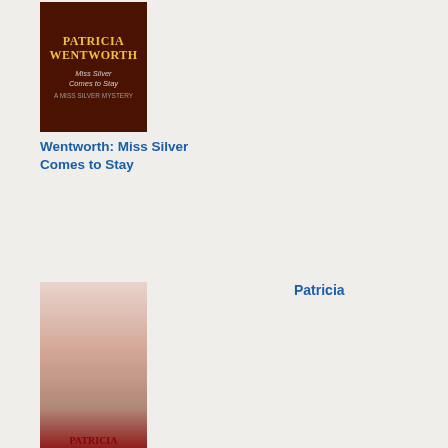[Figure (illustration): Book cover for Patricia Wentworth: Miss Silver Comes to Stay, dark brown background with yellow title text]
Wentworth: Miss Silver Comes to Stay
Patricia
by the Her she was rela uni
[Figure (illustration): Book cover for Patricia Wentworth: The Lonesome Road, showing a woman in pink dress reading]
Wentworth: The Lonesome Road
Patricia
Per hav que who did Wu Hei con fro
[Figure (illustration): Book cover for a Patricia Wentworth book, showing a couple, woman in white and man in yellow]
Patricia
A spi virg livin in a ren